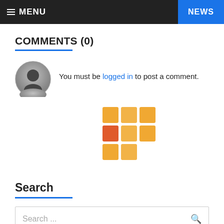MENU | NEWS
COMMENTS (0)
You must be logged in to post a comment.
[Figure (other): 3x3 grid of orange/red-orange colored squares icon]
Search
Search ...
Latest Post